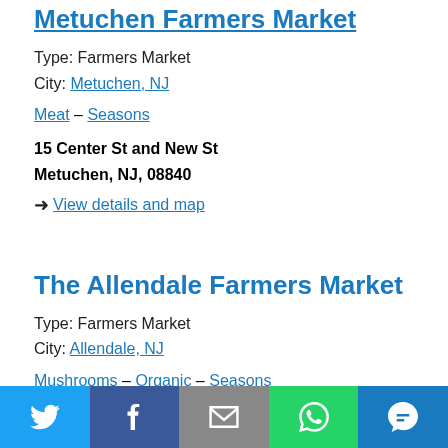Metuchen Farmers Market
Type: Farmers Market
City: Metuchen, NJ
Meat – Seasons
15 Center St and New St
Metuchen, NJ, 08840
➜ View details and map
The Allendale Farmers Market
Type: Farmers Market
City: Allendale, NJ
Mushrooms – Organic – Seasons
Social share bar: Twitter, Facebook, Email, WhatsApp, SMS